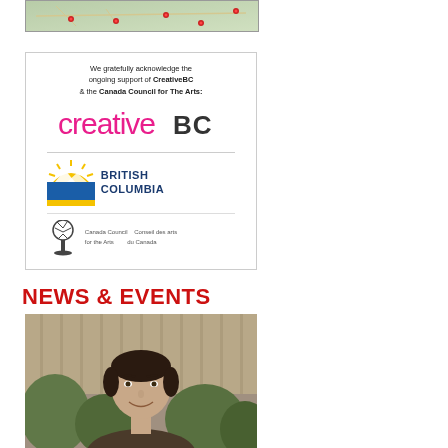[Figure (map): A map showing locations in British Columbia with red pin markers scattered across the province.]
[Figure (infographic): Sponsor acknowledgement box with CreativeBC logo (pink text), British Columbia government logo (sun/mountain landscape with blue text), and Canada Council for the Arts / Conseil des arts du Canada bilingual logo. Text reads: We gratefully acknowledge the ongoing support of CreativeBC & the Canada Council for The Arts.]
NEWS & EVENTS
[Figure (photo): Portrait photograph of a man with dark hair, smiling, photographed outdoors in front of green foliage and wooden background.]